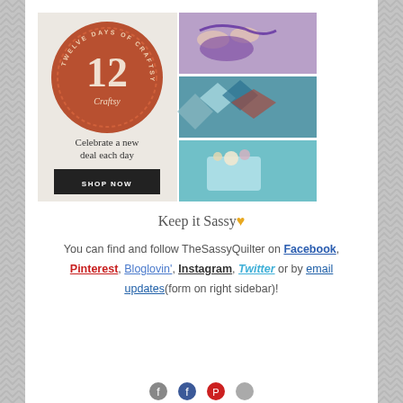[Figure (illustration): Craftsy 'Twelve Days of Craftsy' promotional banner showing a terracotta badge with the number 12, crafting photos (knitting, quilting, cake decorating), text 'Celebrate a new deal each day' and a 'SHOP NOW' button.]
Keep it Sassy♥
You can find and follow TheSassyQuilter on Facebook, Pinterest, Bloglovin', Instagram, Twitter or by email updates(form on right sidebar)!